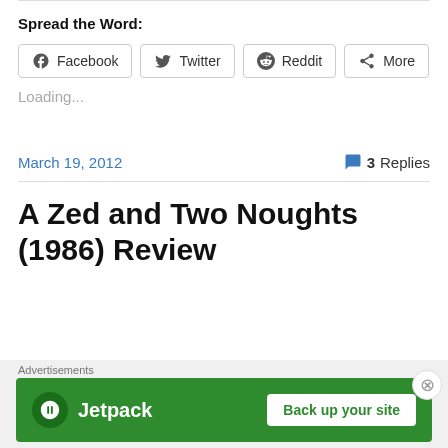Spread the Word:
[Figure (other): Social share buttons: Facebook, Twitter, Reddit, More]
Loading...
March 19, 2012    3 Replies
A Zed and Two Noughts (1986) Review
[Figure (other): Jetpack advertisement banner: Back up your site]